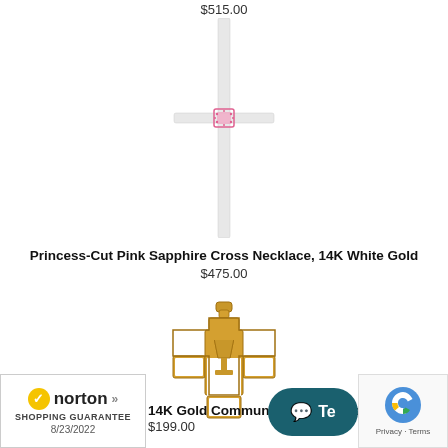$515.00
[Figure (photo): Princess-Cut Pink Sapphire Cross Necklace in 14K White Gold — a slim white gold cross with a small pink sapphire at the center]
Princess-Cut Pink Sapphire Cross Necklace, 14K White Gold
$475.00
[Figure (photo): 14K Gold Communion Cross Necklace — a yellow gold open cross pendant with a chalice design in the center]
14K Gold Communion Cross Necklace
$199.00
[Figure (logo): Norton Shopping Guarantee badge with checkmark, dated 8/23/2022]
[Figure (other): Live chat button (teal rounded rectangle with chat icon and 'Te' text visible)]
[Figure (other): reCAPTCHA badge with Google logo and Privacy/Terms links]